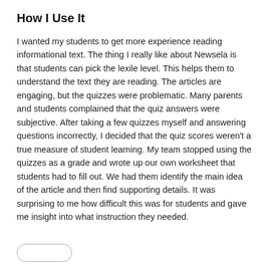How I Use It
I wanted my students to get more experience reading informational text. The thing I really like about Newsela is that students can pick the lexile level. This helps them to understand the text they are reading. The articles are engaging, but the quizzes were problematic. Many parents and students complained that the quiz answers were subjective. After taking a few quizzes myself and answering questions incorrectly, I decided that the quiz scores weren't a true measure of student learning. My team stopped using the quizzes as a grade and wrote up our own worksheet that students had to fill out. We had them identify the main idea of the article and then find supporting details. It was surprising to me how difficult this was for students and gave me insight into what instruction they needed.